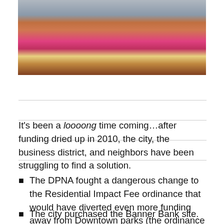[Figure (photo): Photo of people sitting around a table in a meeting or community gathering setting, viewed from behind.]
It’s been a loooong time coming…after funding dried up in 2010, the city, the business district, and neighbors have been struggling to find a solution.
The DPNA fought a dangerous change to the Residential Impact Fee ordinance that would have diverted even more funding away from Downtown parks (the ordinance is still currently inequitable and still needs fixing… more info below).
The city purchased the Banner Bank site.